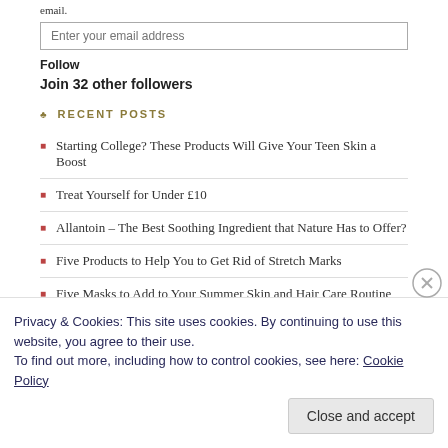email.
Enter your email address
Follow
Join 32 other followers
RECENT POSTS
Starting College? These Products Will Give Your Teen Skin a Boost
Treat Yourself for Under £10
Allantoin – The Best Soothing Ingredient that Nature Has to Offer?
Five Products to Help You to Get Rid of Stretch Marks
Five Masks to Add to Your Summer Skin and Hair Care Routine
ARCHIVES
Privacy & Cookies: This site uses cookies. By continuing to use this website, you agree to their use. To find out more, including how to control cookies, see here: Cookie Policy
Close and accept